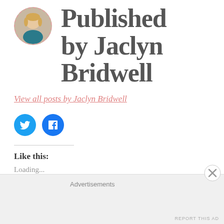[Figure (photo): Circular avatar photo of Jaclyn Bridwell with dashed border, woman with blonde hair wearing teal top]
Published by Jaclyn Bridwell
View all posts by Jaclyn Bridwell
[Figure (illustration): Two circular social media share buttons: Twitter (blue bird icon) and Facebook (blue F icon)]
Like this:
Loading...
Advertisements
REPORT THIS AD